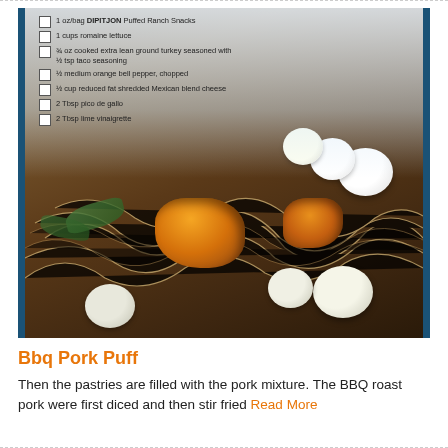[Figure (photo): A bowl of food with white fluffy puffs (BBQ pork puffs), orange chunks of roasted pork or squash, shredded cheese or noodles, and greens. An ingredient checklist is overlaid on the upper-left portion of the image.]
Bbq Pork Puff
Then the pastries are filled with the pork mixture. The BBQ roast pork were first diced and then stir fried Read More